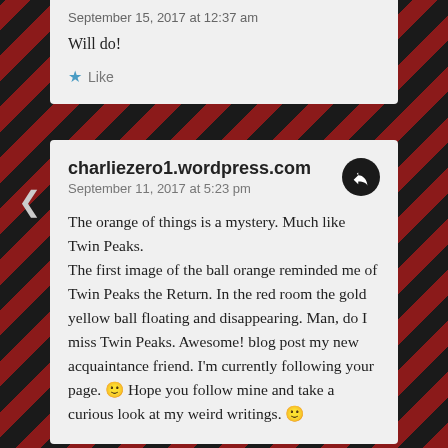September 15, 2017 at 12:37 am
Will do!
Like
charliezero1.wordpress.com
September 11, 2017 at 5:23 pm
The orange of things is a mystery. Much like Twin Peaks.
The first image of the ball orange reminded me of Twin Peaks the Return. In the red room the gold yellow ball floating and disappearing. Man, do I miss Twin Peaks. Awesome! blog post my new acquaintance friend. I'm currently following your page. 🙂 Hope you follow mine and take a curious look at my weird writings. 🙂